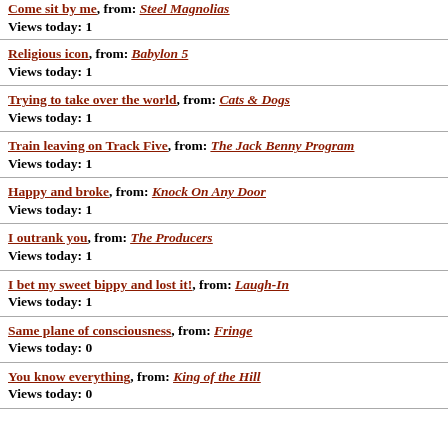Come sit by me, from: Steel Magnolias
Views today: 1
Religious icon, from: Babylon 5
Views today: 1
Trying to take over the world, from: Cats & Dogs
Views today: 1
Train leaving on Track Five, from: The Jack Benny Program
Views today: 1
Happy and broke, from: Knock On Any Door
Views today: 1
I outrank you, from: The Producers
Views today: 1
I bet my sweet bippy and lost it!, from: Laugh-In
Views today: 1
Same plane of consciousness, from: Fringe
Views today: 0
You know everything, from: King of the Hill
Views today: 0